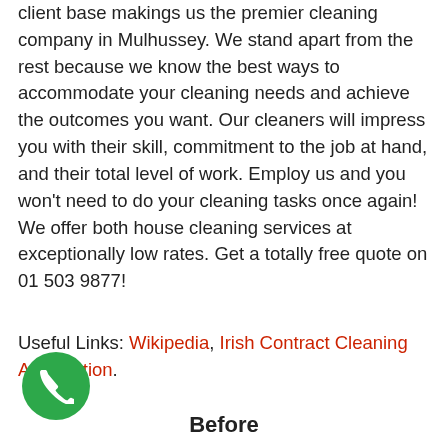client base makings us the premier cleaning company in Mulhussey. We stand apart from the rest because we know the best ways to accommodate your cleaning needs and achieve the outcomes you want. Our cleaners will impress you with their skill, commitment to the job at hand, and their total level of work. Employ us and you won't need to do your cleaning tasks once again! We offer both house cleaning services at exceptionally low rates. Get a totally free quote on 01 503 9877!
Useful Links: Wikipedia, Irish Contract Cleaning Association.
[Figure (illustration): Green circular phone button with white telephone handset icon]
Before